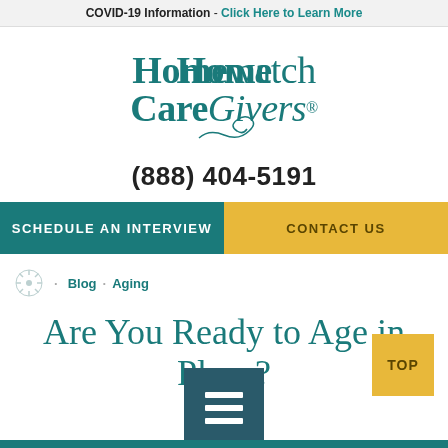COVID-19 Information - Click Here to Learn More
[Figure (logo): Homewatch CareGivers logo in teal serif font with decorative swirl]
(888) 404-5191
SCHEDULE AN INTERVIEW
CONTACT US
Blog · Aging
Are You Ready to Age in Place?